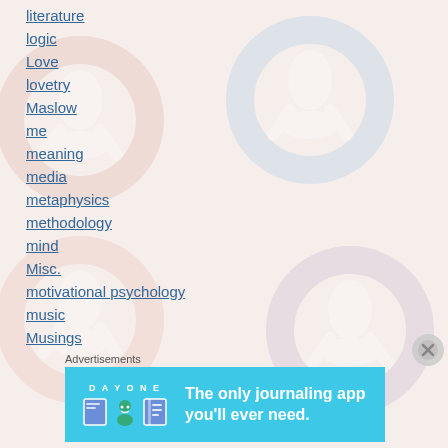literature
logic
Love
lovetry
Maslow
me
meaning
media
metaphysics
methodology
mind
Misc.
motivational psychology
music
Musings
Advertisements
[Figure (illustration): Day One journaling app advertisement banner with blue background, app icons, and text 'The only journaling app you'll ever need.']